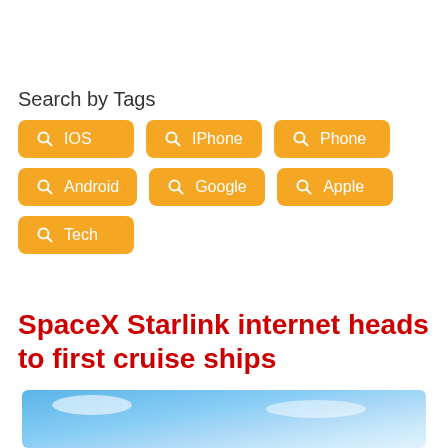Search by Tags
IOS
IPhone
Phone
Android
Google
Apple
Tech
SpaceX Starlink internet heads to first cruise ships
[Figure (photo): Blue sky with clouds, partial view of a cruise ship or rocket in lower portion]